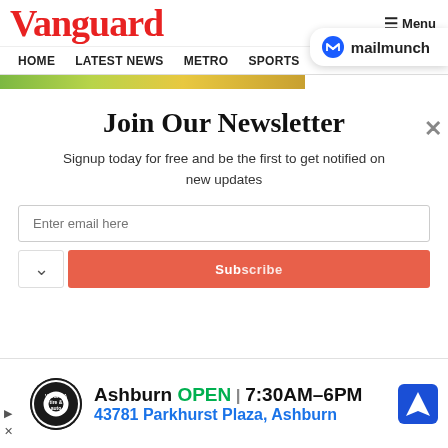Vanguard
≡ Menu
[Figure (logo): mailmunch logo badge with blue M icon and text 'mailmunch']
HOME  LATEST NEWS  METRO  SPORTS  ENTERTAINMENT  VIDEOS
Join Our Newsletter
Signup today for free and be the first to get notified on new updates
Enter email here
[Figure (infographic): Email subscribe button (red/orange) and chevron down button]
[Figure (infographic): Advertisement: Virginia Tire & Auto logo, Ashburn OPEN 7:30AM–6PM, 43781 Parkhurst Plaza, Ashburn, navigation icon]